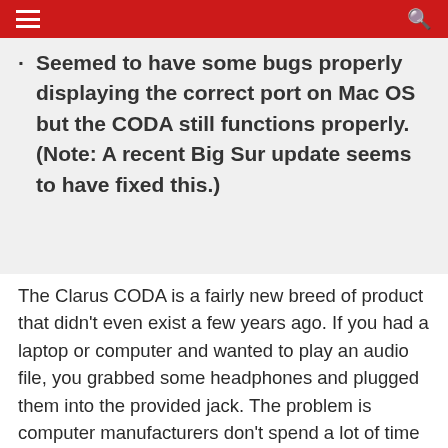≡ [menu] [search]
Seemed to have some bugs properly displaying the correct port on Mac OS but the CODA still functions properly. (Note: A recent Big Sur update seems to have fixed this.)
The Clarus CODA is a fairly new breed of product that didn't even exist a few years ago. If you had a laptop or computer and wanted to play an audio file, you grabbed some headphones and plugged them into the provided jack. The problem is computer manufacturers don't spend a lot of time worrying about the quality of their built-in audio systems, and many audiophiles found the quality of the sound lacking.